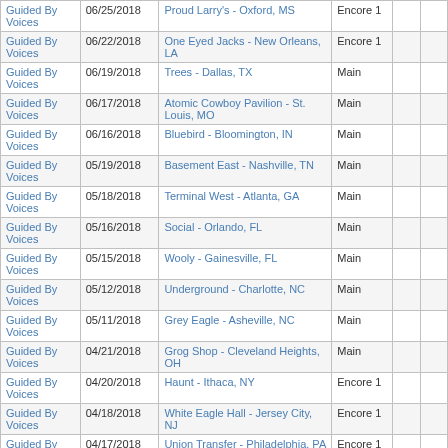| Artist | Date | Venue | Set |  |  |
| --- | --- | --- | --- | --- | --- |
| Guided By Voices | 06/25/2018 | Proud Larry's - Oxford, MS | Encore 1 |  |  |
| Guided By Voices | 06/22/2018 | One Eyed Jacks - New Orleans, LA | Encore 1 |  |  |
| Guided By Voices | 06/19/2018 | Trees - Dallas, TX | Main |  |  |
| Guided By Voices | 06/17/2018 | Atomic Cowboy Pavilion - St. Louis, MO | Main |  |  |
| Guided By Voices | 06/16/2018 | Bluebird - Bloomington, IN | Main |  |  |
| Guided By Voices | 05/19/2018 | Basement East - Nashville, TN | Main |  |  |
| Guided By Voices | 05/18/2018 | Terminal West - Atlanta, GA | Main |  |  |
| Guided By Voices | 05/16/2018 | Social - Orlando, FL | Main |  |  |
| Guided By Voices | 05/15/2018 | Wooly - Gainesville, FL | Main |  |  |
| Guided By Voices | 05/12/2018 | Underground - Charlotte, NC | Main |  |  |
| Guided By Voices | 05/11/2018 | Grey Eagle - Asheville, NC | Main |  |  |
| Guided By Voices | 04/21/2018 | Grog Shop - Cleveland Heights, OH | Main |  |  |
| Guided By Voices | 04/20/2018 | Haunt - Ithaca, NY | Encore 1 |  |  |
| Guided By Voices | 04/18/2018 | White Eagle Hall - Jersey City, NJ | Encore 1 |  |  |
| Guided By Voices | 04/17/2018 | Union Transfer - Philadelphia, PA | Encore 1 |  |  |
| Guided By Voices | 04/14/2018 | Hi-Fi - Indianapolis, IN | Encore 1 |  |  |